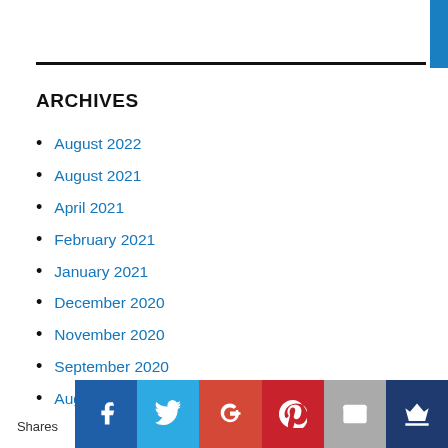ARCHIVES
August 2022
August 2021
April 2021
February 2021
January 2021
December 2020
November 2020
September 2020
August 2020